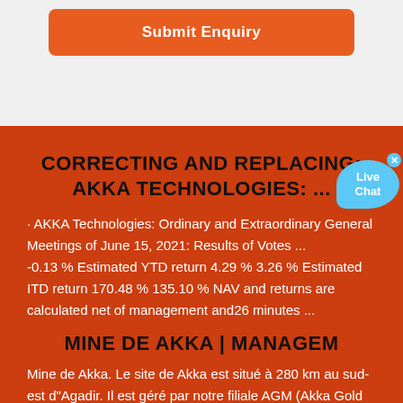Submit Enquiry
CORRECTING AND REPLACING: AKKA TECHNOLOGIES: ...
· AKKA Technologies: Ordinary and Extraordinary General Meetings of June 15, 2021: Results of Votes ... -0.13 % Estimated YTD return 4.29 % 3.26 % Estimated ITD return 170.48 % 135.10 % NAV and returns are calculated net of management and26 minutes ...
MINE DE AKKA | MANAGEM
Mine de Akka. Le site de Akka est situé à 280 km au sud-est d"Agadir. Il est géré par notre filiale AGM (Akka Gold